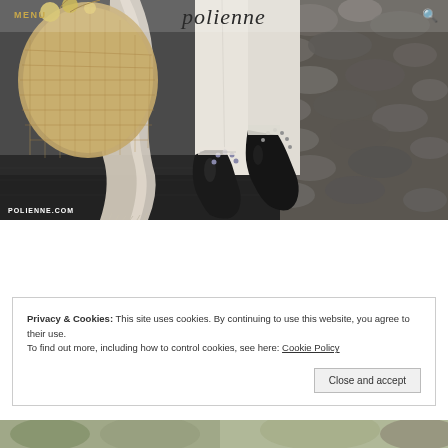[Figure (photo): Fashion blog photo showing a person walking wearing white trousers, black patent leather studded boots/shoes, carrying a large woven straw bag and a light grey/beige scarf/shawl, against a stone wall background. Watermark 'POLIENNE.COM' in lower left. Navigation overlay shows 'MENU' in gold top left, 'polienne' in italic center, search icon in gold top right.]
Privacy & Cookies: This site uses cookies. By continuing to use this website, you agree to their use.
To find out more, including how to control cookies, see here: Cookie Policy
Close and accept
[Figure (photo): Partial view of a second fashion photo at the bottom of the page, partially obscured.]